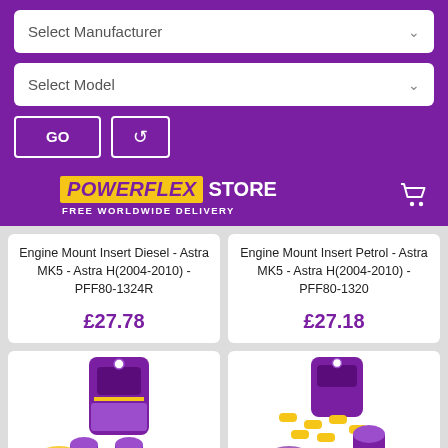Select Manufacturer
Select Model
GO
[Figure (screenshot): Powerflex Store logo with FREE WORLDWIDE DELIVERY text and shopping cart icon]
Engine Mount Insert Diesel - Astra MK5 - Astra H(2004-2010) - PFF80-1324R
£27.78
Engine Mount Insert Petrol - Astra MK5 - Astra H(2004-2010) - PFF80-1320
£27.18
[Figure (photo): Powerflex purple/yellow automotive bush product in packaging - left card]
[Figure (photo): Powerflex purple/yellow automotive bush kit product in packaging - right card]